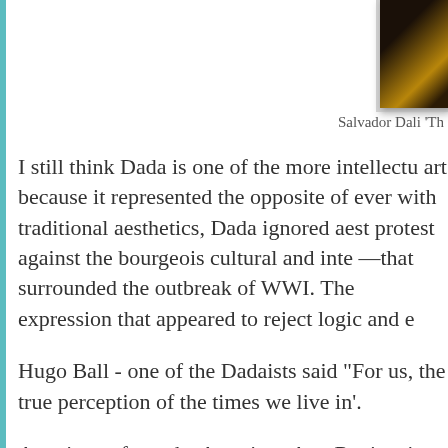[Figure (photo): Partial photo of Salvador Dali artwork, dark tones with gold/yellow highlights, partially cropped at right edge of page]
Salvador Dali 'Th
I still think Dada is one of the more intellectu art because it represented the opposite of ever with traditional aesthetics, Dada ignored aest protest against the bourgeois cultural and inte —that surrounded the outbreak of WWI. The expression that appeared to reject logic and e
Hugo Ball - one of the Dadaists said "For us, the true perception of the times we live in'.
A reviewer from the American Arts Review je